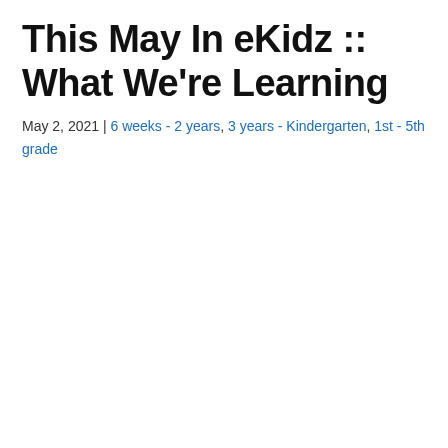This May In eKidz :: What We're Learning
May 2, 2021 | 6 weeks - 2 years, 3 years - Kindergarten, 1st - 5th grade